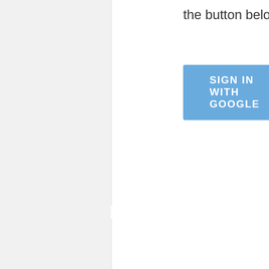the button below to sign in with Google.
[Figure (screenshot): Blue 'SIGN IN WITH GOOGLE' button]
Load more...
[Figure (screenshot): Red X close button for popup]
Subscribe by Email Get Free Updates
[Figure (screenshot): Email subscription form with Gmail icon input and Subscribe button]
Don't Forget To Join US Our Community
[Figure (logo): Blogger logo (partially visible, orange text)]